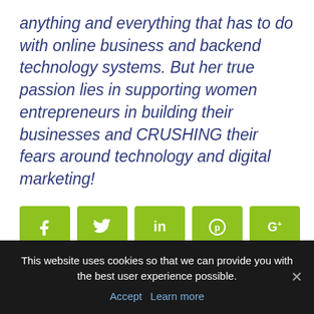anything and everything that has to do with online business and backend technology systems. But her true passion lies in supporting women entrepreneurs in building their businesses and CRUSHING their fears around technology and digital marketing!
[Figure (infographic): Row of five green social media share buttons: Facebook (f), Twitter (bird), LinkedIn (in), Pinterest (P), Google+ (G+)]
by Nancy Sheed
This website uses cookies so that we can provide you with the best user experience possible.
Accept   Learn more